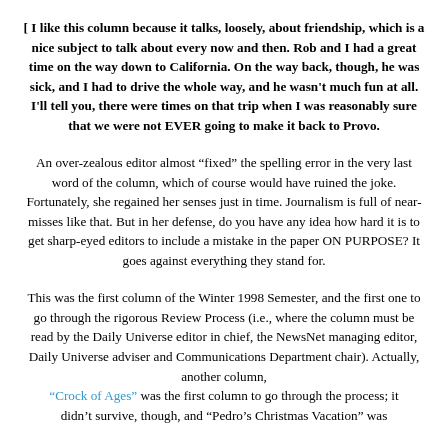[ I like this column because it talks, loosely, about friendship, which is a nice subject to talk about every now and then. Rob and I had a great time on the way down to California. On the way back, though, he was sick, and I had to drive the whole way, and he wasn't much fun at all. I'll tell you, there were times on that trip when I was reasonably sure that we were not EVER going to make it back to Provo.
An over-zealous editor almost "fixed" the spelling error in the very last word of the column, which of course would have ruined the joke. Fortunately, she regained her senses just in time. Journalism is full of near-misses like that. But in her defense, do you have any idea how hard it is to get sharp-eyed editors to include a mistake in the paper ON PURPOSE? It goes against everything they stand for.
This was the first column of the Winter 1998 Semester, and the first one to go through the rigorous Review Process (i.e., where the column must be read by the Daily Universe editor in chief, the NewsNet managing editor, Daily Universe adviser and Communications Department chair). Actually, another column, "Crock of Ages" was the first column to go through the process; it didn't survive, though, and "Pedro's Christmas Vacation" was...